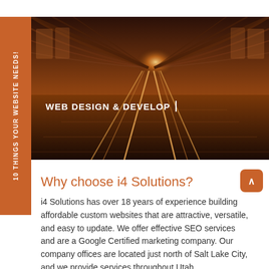[Figure (photo): Hero banner image showing a train station platform with railway tracks extending into the distance, warm orange/amber tones, with bright light in the background. Text overlay reads 'WEB DESIGN & DEVELOP|']
Why choose i4 Solutions?
i4 Solutions has over 18 years of experience building affordable custom websites that are attractive, versatile, and easy to update. We offer effective SEO services and are a Google Certified marketing company. Our company offices are located just north of Salt Lake City, and we provide services throughout Utah